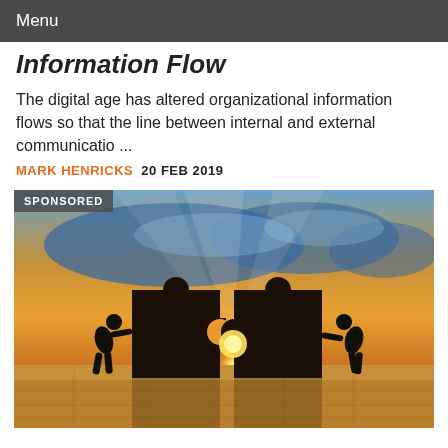Menu
Information Flow
The digital age has altered organizational information flows so that the line between internal and external communicatio ...
MARK HENRICKS  20 FEB 2019
[Figure (photo): Two silhouetted figures pushing large jigsaw puzzle pieces together against a sunset sky background with a world map overlay. A 'SPONSORED' label appears in the top-left corner.]